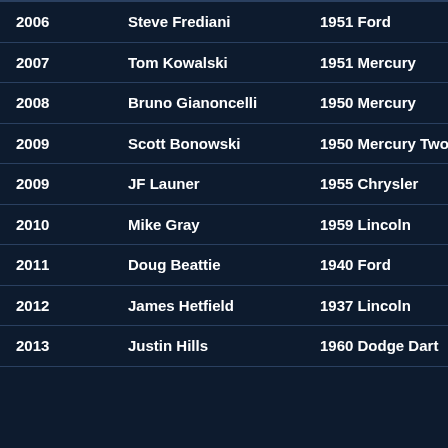| Year | Name | Car |
| --- | --- | --- |
| 2006 | Steve Frediani | 1951 Ford |
| 2007 | Tom Kowalski | 1951 Mercury |
| 2008 | Bruno Gianoncelli | 1950 Mercury |
| 2009 | Scott Bonowski | 1950 Mercury Two Door |
| 2009 | JF Launer | 1955 Chrysler |
| 2010 | Mike Gray | 1959 Lincoln |
| 2011 | Doug Beattie | 1940 Ford |
| 2012 | James Hetfield | 1937 Lincoln |
| 2013 | Justin Hills | 1960 Dodge Dart |